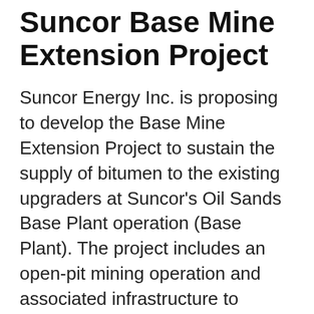Suncor Base Mine Extension Project
Suncor Energy Inc. is proposing to develop the Base Mine Extension Project to sustain the supply of bitumen to the existing upgraders at Suncor's Oil Sands Base Plant operation (Base Plant). The project includes an open-pit mining operation and associated infrastructure to supply bitumen to new froth production facilities and various other production facilities at the existing Base Plant. The project is located adjacent to existing Base Plant operations approximately three kilometres north of Fort McMurray, Alberta, within the